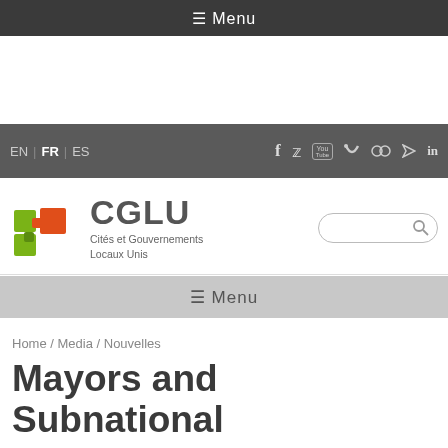≡ Menu
EN | FR | ES
[Figure (logo): CGLU logo with puzzle pieces in green and orange/red, text: CGLU Cités et Gouvernements Locaux Unis]
≡ Menu
Home / Media / Nouvelles
Mayors and Subnational